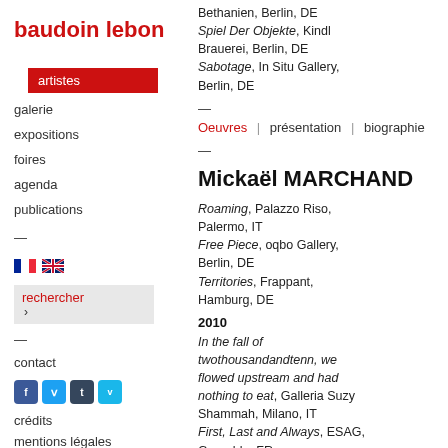baudoin lebon
artistes
galerie
expositions
foires
agenda
publications
rechercher
contact
crédits
mentions légales
Bethanien, Berlin, DE
Spiel Der Objekte, Kindl Brauerei, Berlin, DE
Sabotage, In Situ Gallery, Berlin, DE
Oeuvres | présentation | biographie
Mickaël MARCHAND
Roaming, Palazzo Riso, Palermo, IT
Free Piece, oqbo Gallery, Berlin, DE
Territories, Frappant, Hamburg, DE
2010
In the fall of twothousandandtenn, we flowed upstream and had nothing to eat, Galleria Suzy Shammah, Milano, IT
First, Last and Always, ESAG, Grenoble, FR
Regards, Centre d'Art de la Bastille, Grenoble, FR
Zwischen zwei investoren, Project Space, Berlin, DE
2008
Jeune Création, La Villette